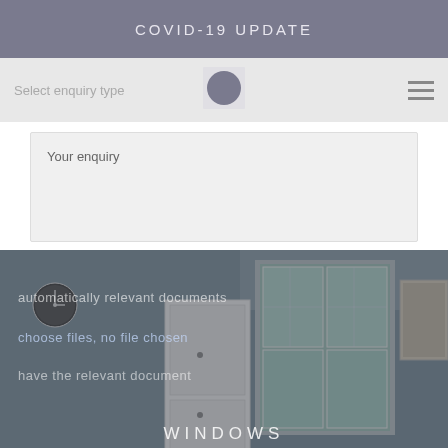COVID-19 UPDATE
Select enquiry type
Your enquiry
[Figure (photo): Interior room photo showing white cabinetry, windows with decorative glass panes, a wall clock, and framed artwork. Overlay text reads: 'automatically relevant documents', 'choose files, no file chosen', 'have the relevant document'. Bottom text: WINDOWS]
WINDOWS